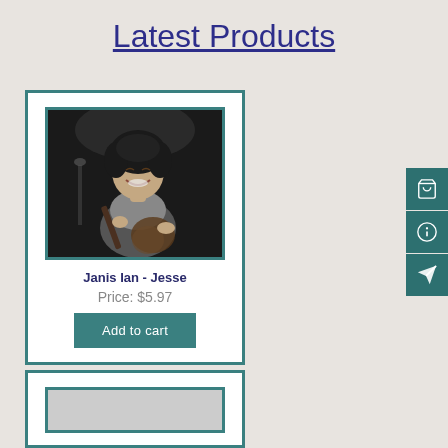Latest Products
[Figure (photo): Black and white photo of Janis Ian playing guitar and singing, smiling]
Janis Ian - Jesse
Price: $5.97
Add to cart